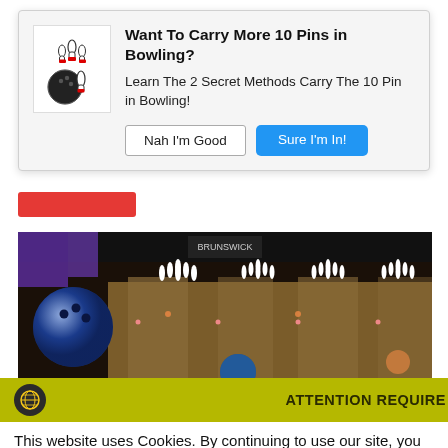[Figure (screenshot): Pop-up modal with bowling ball and pins icon, title 'Want To Carry More 10 Pins in Bowling?', body text, and two buttons: 'Nah I'm Good' and 'Sure I'm In!']
Want To Carry More 10 Pins in Bowling?
Learn The 2 Secret Methods Carry The 10 Pin in Bowling!
[Figure (photo): Photo of a bowling alley showing a blue bowling ball on the left and multiple lanes with white pins in the background, dark setting]
ATTENTION REQUIRE
This website uses Cookies. By continuing to use our site, you consent to the use of cookies.
Accept
Privacy Center
BEST BOWLING BALLS FOR HOOK 2021